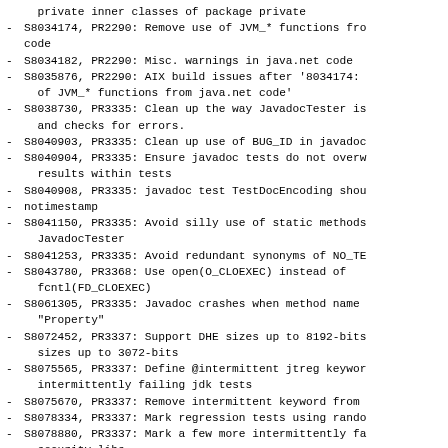private inner classes of package private
S8034174, PR2290: Remove use of JVM_* functions from code
S8034182, PR2290: Misc. warnings in java.net code
S8035876, PR2290: AIX build issues after '8034174: of JVM_* functions from java.net code'
S8038730, PR3335: Clean up the way JavadocTester is and checks for errors.
S8040903, PR3335: Clean up use of BUG_ID in javadoc
S8040904, PR3335: Ensure javadoc tests do not overw results within tests
S8040908, PR3335: javadoc test TestDocEncoding shou
notimestamp
S8041150, PR3335: Avoid silly use of static methods JavadocTester
S8041253, PR3335: Avoid redundant synonyms of NO_TE
S8043780, PR3368: Use open(O_CLOEXEC) instead of fcntl(FD_CLOEXEC)
S8061305, PR3335: Javadoc crashes when method name "Property"
S8072452, PR3337: Support DHE sizes up to 8192-bits sizes up to 3072-bits
S8075565, PR3337: Define @intermittent jtreg keyword intermittently failing jdk tests
S8075670, PR3337: Remove intermittent keyword from
S8078334, PR3337: Mark regression tests using rando
S8078880, PR3337: Mark a few more intermittently fa security-libs
S8133318, PR3337: Exclude intermittent failing PKCS on Solaris SPARC 11.1 and earlier